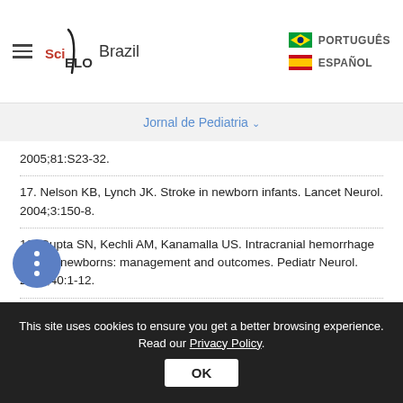SciELO Brazil | PORTUGUÊS | ESPAÑOL
Jornal de Pediatria
2005;81:S23-32.
17. Nelson KB, Lynch JK. Stroke in newborn infants. Lancet Neurol. 2004;3:150-8.
18. Gupta SN, Kechli AM, Kanamalla US. Intracranial hemorrhage in term newborns: management and outcomes. Pediatr Neurol. 2009;40:1-12.
19. Grillo E, Silva RJ, Filho JH. Hemorragia intracraniana por deficiência de vitamina K em
This site uses cookies to ensure you get a better browsing experience. Read our Privacy Policy.